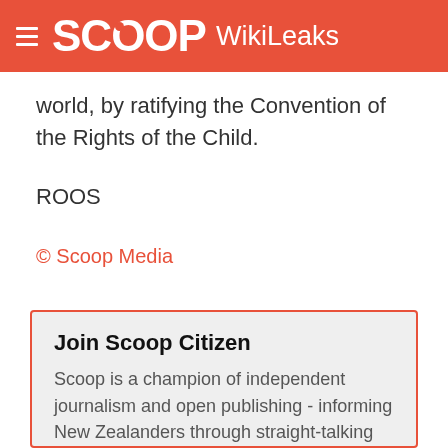SCOOP WikiLeaks
world, by ratifying the Convention of the Rights of the Child.
ROOS
© Scoop Media
Join Scoop Citizen
Scoop is a champion of independent journalism and open publishing - informing New Zealanders through straight-talking independent journalism, and publishing news from a wide range of sectors. Join us and support the publication of